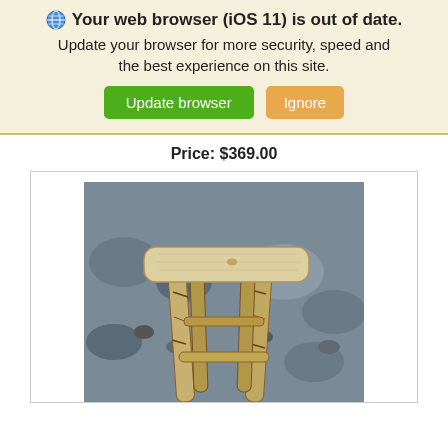Your web browser (iOS 11) is out of date. Update your browser for more security, speed and the best experience on this site. [Update browser] [Ignore]
Price: $369.00
[Figure (photo): A rustic wooden bar stool with a light-colored rectangular seat top and rough-hewn log legs, photographed outdoors against a rocky background.]